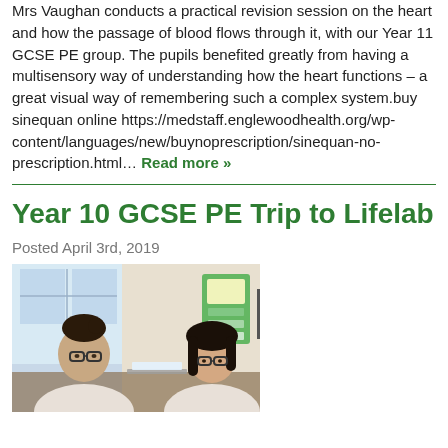Mrs Vaughan conducts a practical revision session on the heart and how the passage of blood flows through it, with our Year 11 GCSE PE group. The pupils benefited greatly from having a multisensory way of understanding how the heart functions – a great visual way of remembering such a complex system.buy sinequan online https://medstaff.englewoodhealth.org/wp-content/languages/new/buynoprescription/sinequan-no-prescription.html… Read more »
Year 10 GCSE PE Trip to Lifelab
Posted April 3rd, 2019
[Figure (photo): Two female students wearing glasses seated at a desk in a bright lab/classroom environment, working on an activity. A colorful poster is visible in the background.]